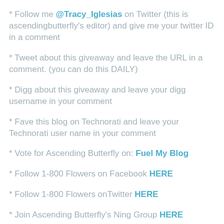* Follow me @Tracy_Iglesias on Twitter (this is ascendingbutterfly's editor) and give me your twitter ID in a comment
* Tweet about this giveaway and leave the URL in a comment. (you can do this DAILY)
* Digg about this giveaway and leave your digg username in your comment
* Fave this blog on Technorati and leave your Technorati user name in your comment
* Vote for Ascending Butterfly on: Fuel My Blog
* Follow 1-800 Flowers on Facebook HERE
* Follow 1-800 Flowers onTwitter HERE
* Join Ascending Butterfly's Ning Group HERE